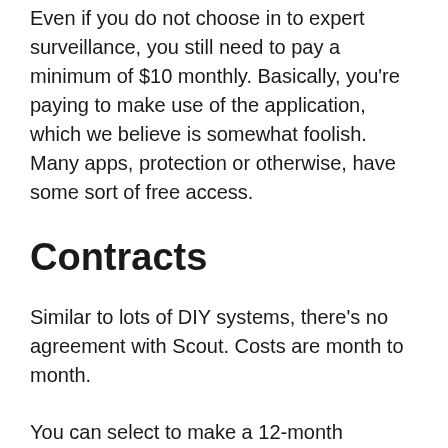Even if you do not choose in to expert surveillance, you still need to pay a minimum of $10 monthly. Basically, you're paying to make use of the application, which we believe is somewhat foolish. Many apps, protection or otherwise, have some sort of free access.
Contracts
Similar to lots of DIY systems, there's no agreement with Scout. Costs are month to month.
You can select to make a 12-month dedication for a 10% discount. However also after that, Scout will provide you a prorated reimbursement if you need to cancel. That's